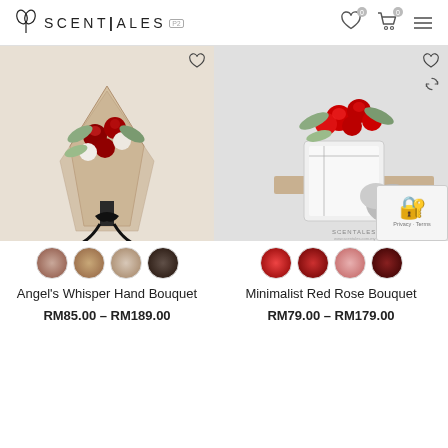SCENTALES
[Figure (photo): Angel's Whisper Hand Bouquet - roses wrapped in kraft paper with black ribbon]
[Figure (photo): Minimalist Red Rose Bouquet - red roses in white minimalist wrapping on a chair]
Angel's Whisper Hand Bouquet
RM85.00 – RM189.00
Minimalist Red Rose Bouquet
RM79.00 – RM179.00